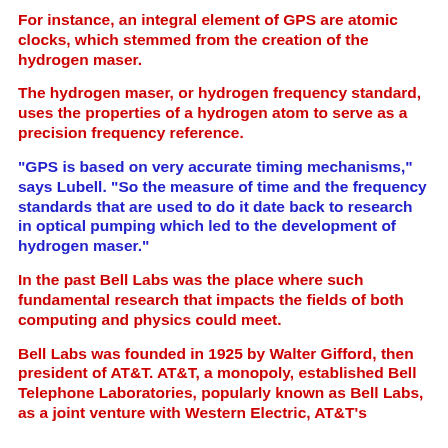For instance, an integral element of GPS are atomic clocks, which stemmed from the creation of the hydrogen maser.
The hydrogen maser, or hydrogen frequency standard, uses the properties of a hydrogen atom to serve as a precision frequency reference.
"GPS is based on very accurate timing mechanisms," says Lubell. "So the measure of time and the frequency standards that are used to do it date back to research in optical pumping which led to the development of hydrogen maser."
In the past Bell Labs was the place where such fundamental research that impacts the fields of both computing and physics could meet.
Bell Labs was founded in 1925 by Walter Gifford, then president of AT&T. AT&T, a monopoly, established Bell Telephone Laboratories, popularly known as Bell Labs, as a joint venture with Western Electric, AT&T's